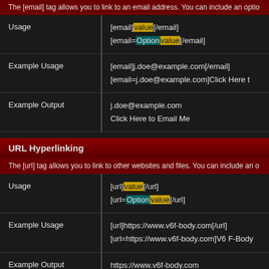The [email] tag allows you to link to an email address. You can include an optio...
|  |  |
| --- | --- |
| Usage | [email]value[/email]
[email=Option|value[/email] |
| Example Usage | [email]j.doe@example.com[/email]
[email=j.doe@example.com]Click Here t... |
| Example Output | j.doe@example.com
Click Here to Email Me |
URL Hyperlinking
The [url] tag allows you to link to other websites and files. You can include an o...
|  |  |
| --- | --- |
| Usage | [url]value[/url]
[url=Option|value[/url] |
| Example Usage | [url]https://www.v6f-body.com[/url]
[url=https://www.v6f-body.com]V6 F-Body... |
| Example Output | https://www.v6f-body.com
V6 F-Body.com |
Thread Linking
The [thread] tag allows you to link to threads by specifying the thread id. You ca... your link.
|  |  |
| --- | --- |
| Usage | [thread]threadid[/thread]
[thread=threadid]value[/thread] |